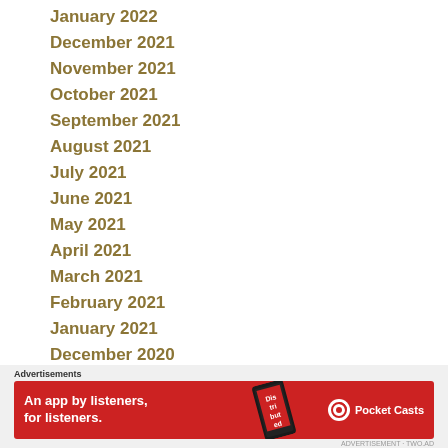January 2022
December 2021
November 2021
October 2021
September 2021
August 2021
July 2021
June 2021
May 2021
April 2021
March 2021
February 2021
January 2021
December 2020
[Figure (other): Advertisement banner for Pocket Casts app: red background with phone graphic showing 'Distributed' text, tagline 'An app by listeners, for listeners.' and Pocket Casts logo]
Advertisements